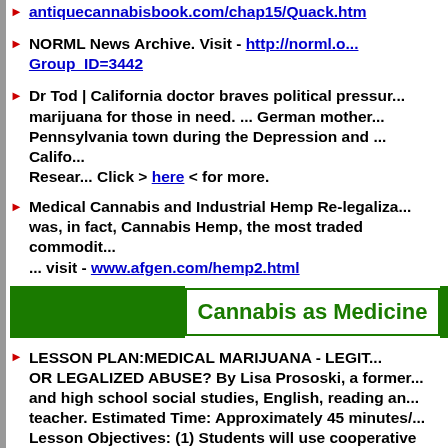antiquecannabisbook.com/chap15/Quack.htm
NORML News Archive. Visit - http://norml.com/... Group_ID=3442
Dr Tod | California doctor braves political pressure to prescribe marijuana for those in need. ... German mother... Pennsylvania town during the Depression and ... California Resear... Click > here < for more.
Medical Cannabis and Industrial Hemp Re-legalization ... was, in fact, Cannabis Hemp, the most traded commodity ... visit - www.afgen.com/hemp2.html
Cannabis as Medicine
LESSON PLAN:MEDICAL MARIJUANA - LEGIT OR LEGALIZED ABUSE? By Lisa Prososki, a former and high school social studies, English, reading and teacher. Estimated Time: Approximately 45 minutes/... Lesson Objectives: (1) Students will use cooperative lear...